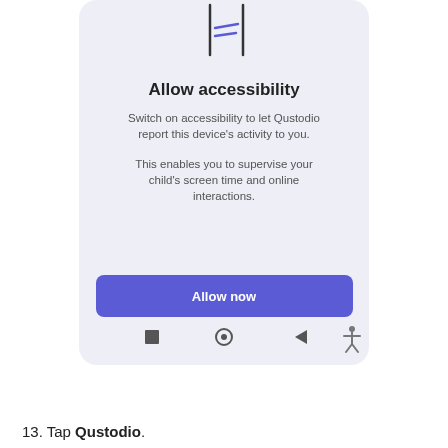[Figure (screenshot): Mobile app screenshot showing 'Allow accessibility' screen with illustration of a person at top, title text, descriptive body text, and a purple 'Allow now' button with navigation bar icons at bottom]
13. Tap Qustodio.